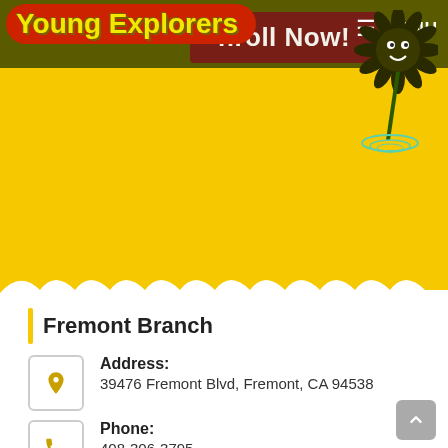[Figure (screenshot): Young Explorers website header with logo, Enroll Now button, and animated flower/sun illustration on olive/yellow background]
Fremont Branch
Address: 39476 Fremont Blvd, Fremont, CA 94538
Phone: 408-306-3795